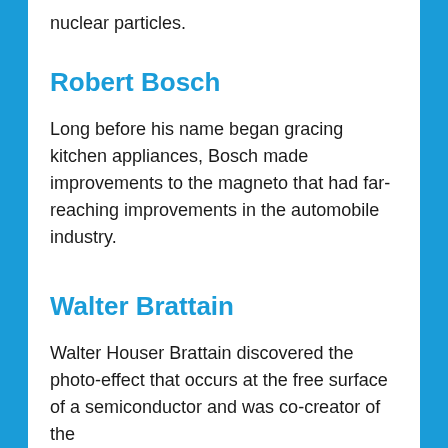nuclear particles.
Robert Bosch
Long before his name began gracing kitchen appliances, Bosch made improvements to the magneto that had far-reaching improvements in the automobile industry.
Walter Brattain
Walter Houser Brattain discovered the photo-effect that occurs at the free surface of a semiconductor and was co-creator of the